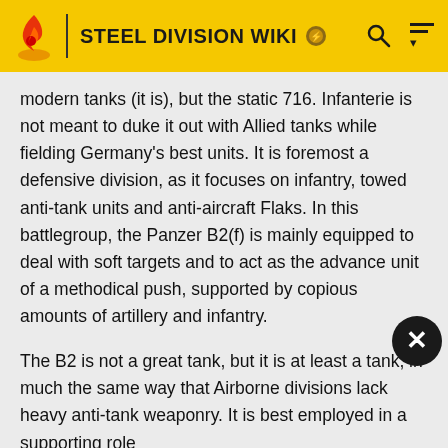STEEL DIVISION WIKI
modern tanks (it is), but the static 716. Infanterie is not meant to duke it out with Allied tanks while fielding Germany's best units. It is foremost a defensive division, as it focuses on infantry, towed anti-tank units and anti-aircraft Flaks. In this battlegroup, the Panzer B2(f) is mainly equipped to deal with soft targets and to act as the advance unit of a methodical push, supported by copious amounts of artillery and infantry.
The B2 is not a great tank, but it is at least a tank, in much the same way that Airborne divisions lack heavy anti-tank weaponry. It is best employed in a supporting role as a mo[REDACTED]the Flaks a[REDACTED]with other tanks – artillery, airpower, Flaks and anti-tank unit...